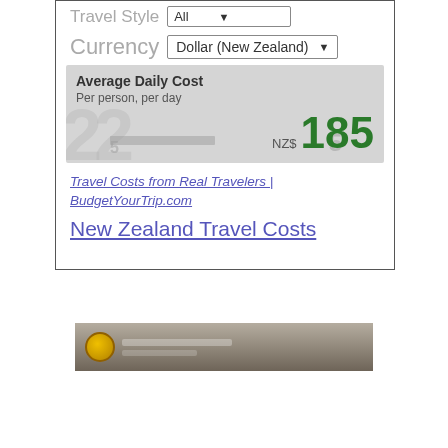Travel Style   All
Currency   Dollar (New Zealand)
Average Daily Cost
Per person, per day
NZ$ 185
Travel Costs from Real Travelers | BudgetYourTrip.com
New Zealand Travel Costs
[Figure (screenshot): Partial advertisement banner with a gold circular logo and muted grey-brown background]